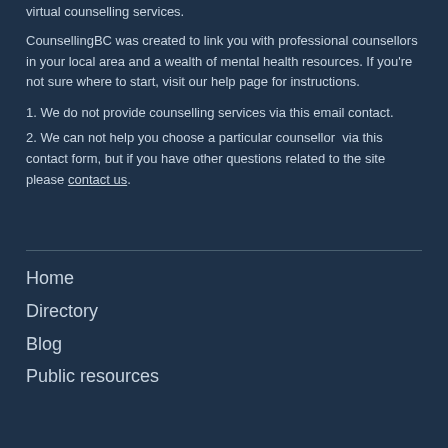virtual counselling services.
CounsellingBC was created to link you with professional counsellors in your local area and a wealth of mental health resources. If you're not sure where to start, visit our help page for instructions.
1. We do not provide counselling services via this email contact.
2. We can not help you choose a particular counsellor via this contact form, but if you have other questions related to the site please contact us.
Home
Directory
Blog
Public resources